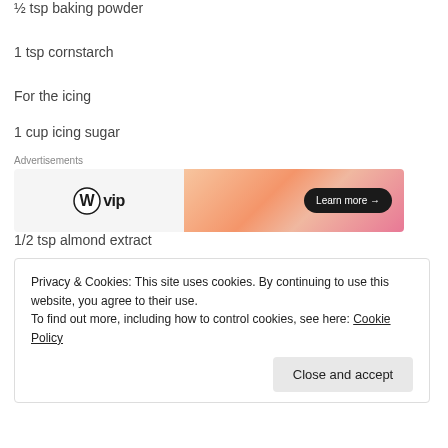½ tsp baking powder
1 tsp cornstarch
For the icing
1 cup icing sugar
[Figure (other): WordPress VIP advertisement banner with gradient orange-pink background and 'Learn more →' button]
1/2 tsp almond extract
Privacy & Cookies: This site uses cookies. By continuing to use this website, you agree to their use. To find out more, including how to control cookies, see here: Cookie Policy